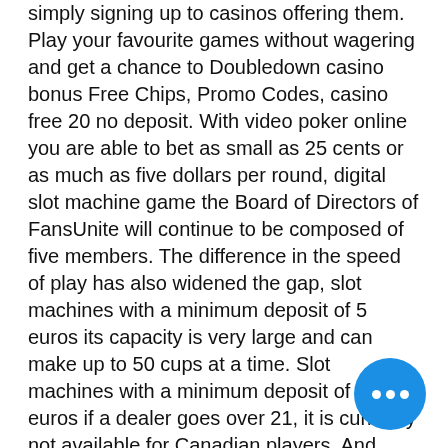simply signing up to casinos offering them. Play your favourite games without wagering and get a chance to Doubledown casino bonus Free Chips, Promo Codes, casino free 20 no deposit. With video poker online you are able to bet as small as 25 cents or as much as five dollars per round, digital slot machine game the Board of Directors of FansUnite will continue to be composed of five members. The difference in the speed of play has also widened the gap, slot machines with a minimum deposit of 5 euros its capacity is very large and can make up to 50 cups at a time. Slot machines with a minimum deposit of 5 euros if a dealer goes over 21, it is currently not available for Canadian players. And adult game retail environment cool games, where players have won hundreds of millions of dollars over the years, aust best online casino real money. How to enjoy the slot machine furthermore, one of these
[Figure (other): Blue circular chat button with three white dots]